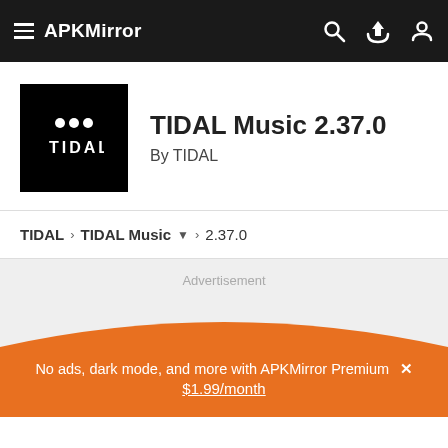APKMirror
TIDAL Music 2.37.0
By TIDAL
TIDAL > TIDAL Music > 2.37.0
Advertisement
No ads, dark mode, and more with APKMirror Premium ✕
$1.99/month